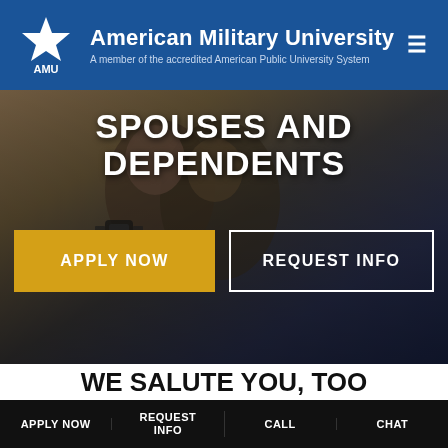American Military University — A member of the accredited American Public University System
SPOUSES AND DEPENDENTS
APPLY NOW
REQUEST INFO
WE SALUTE YOU, TOO
As a military spouse or dependent, we understand your unique challenges: juggling work and family life, PCS relocations, and the other unpredictable circumstances
APPLY NOW | REQUEST INFO | CALL | CHAT